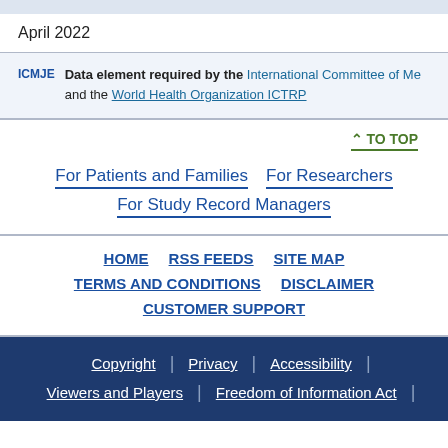April 2022
ICMJE  Data element required by the International Committee of Medical Journal Editors and the World Health Organization ICTRP
^ TO TOP
For Patients and Families | For Researchers | For Study Record Managers
HOME  RSS FEEDS  SITE MAP  TERMS AND CONDITIONS  DISCLAIMER  CUSTOMER SUPPORT  Copyright | Privacy | Accessibility | Viewers and Players | Freedom of Information Act |